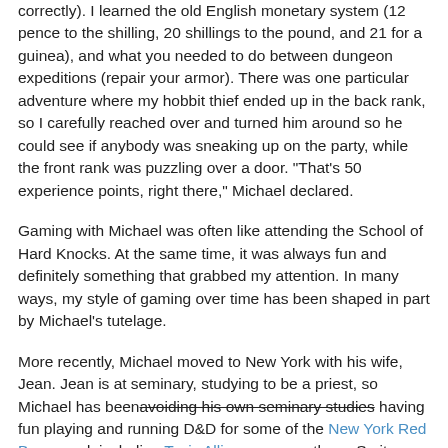correctly).  I learned the old English monetary system (12 pence to the shilling, 20 shillings to the pound, and 21 for a guinea), and what you needed to do between dungeon expeditions (repair your armor).  There was one particular adventure where my hobbit thief ended up in the back rank, so I carefully reached over and turned him around so he could see if anybody was sneaking up on the party, while the front rank was puzzling over a door.  "That's 50 experience points, right there," Michael declared.
Gaming with Michael was often like attending the School of Hard Knocks.  At the same time, it was always fun and definitely something that grabbed my attention.  In many ways, my style of gaming over time has been shaped in part by Michael's tutelage.
More recently, Michael moved to New York with his wife, Jean.  Jean is at seminary, studying to be a priest, so Michael has been avoiding his own seminary studies having fun playing and running D&D for some of the New York Red Box crowd, including Tavis Allison among others.  So it was with a real sense of nostalgia and interest I recently read